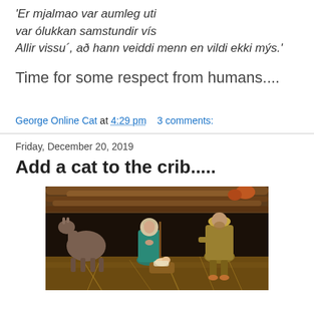'Er mjalmao var aumleg uti var ólukkan samstundir vís Allir vissu´, að hann veiddi menn en vildi ekki mýs.'
Time for some respect from humans....
George Online Cat at 4:29 pm    3 comments:
Friday, December 20, 2019
Add a cat to the crib.....
[Figure (photo): Nativity scene with figurines of Mary, Joseph, and baby Jesus in a manger with hay. A donkey is visible on the left. Wooden logs form the structure above.]